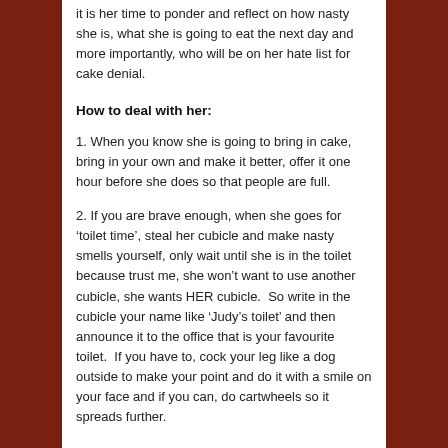it is her time to ponder and reflect on how nasty she is, what she is going to eat the next day and more importantly, who will be on her hate list for cake denial.
How to deal with her:
1. When you know she is going to bring in cake, bring in your own and make it better, offer it one hour before she does so that people are full.
2. If you are brave enough, when she goes for ‘toilet time’, steal her cubicle and make nasty smells yourself, only wait until she is in the toilet because trust me, she won’t want to use another cubicle, she wants HER cubicle.  So write in the cubicle your name like ‘Judy’s toilet’ and then announce it to the office that is your favourite toilet.  If you have to, cock your leg like a dog outside to make your point and do it with a smile on your face and if you can, do cartwheels so it spreads further.
The Good Looking Smarmy Office Bastard